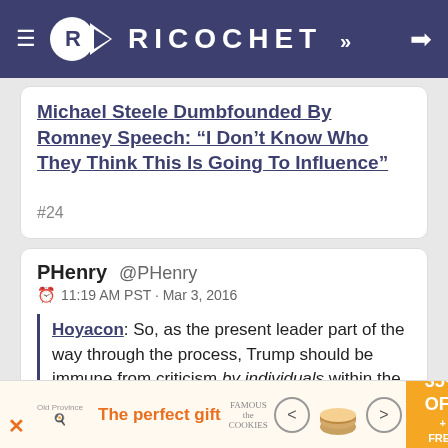RICOCHET
Michael Steele Dumbfounded By Romney Speech: "I Don't Know Who They Think This Is Going To Influence"
#24
PHenry @PHenry
11:19 AM PST · Mar 3, 2016
Hoyacon: So, as the present leader part of the way through the process, Trump should be immune from criticism by individuals within the party?
Romney is not some random individual in the party. He, as their last presidential candidate, is in a party...
[Figure (advertisement): Ad banner: 'The perfect gift' with food bowl image and 35% OFF + FREE SHIPPING offer]